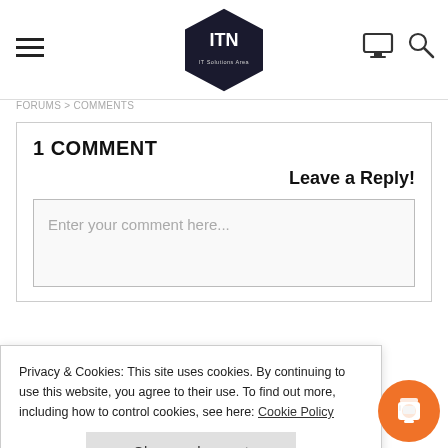ITN — header with hamburger menu, ITN hexagon logo, monitor icon, search icon
FORUMS > COMMENTS
1 COMMENT
Leave a Reply!
Enter your comment here...
ismet to reduce spam. Learn how your
Privacy & Cookies: This site uses cookies. By continuing to use this website, you agree to their use. To find out more, including how to control cookies, see here: Cookie Policy
Close and accept
LOUD
[...] Although it doesn't pop out as the most prominent